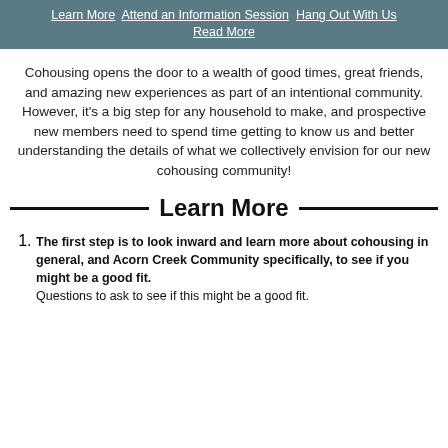Learn More  Attend an Information Session  Hang Out With Us  Read More
Cohousing opens the door to a wealth of good times, great friends, and amazing new experiences as part of an intentional community. However, it’s a big step for any household to make, and prospective new members need to spend time getting to know us and better understanding the details of what we collectively envision for our new cohousing community!
Learn More
The first step is to look inward and learn more about cohousing in general, and Acorn Creek Community specifically, to see if you might be a good fit.
Questions to ask to see if this might be a good fit.